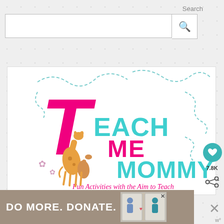Search
[Figure (screenshot): Search bar with text input field and search button icon]
[Figure (logo): Teach Me Mommy logo: large pink T with giraffes, teal text reading EACH ME MOMMY, cursive subtitle 'Fun Activities with the Aim to Teach', decorative dashed swirl lines]
[Figure (screenshot): Advertisement banner reading DO MORE. DONATE. with an illustration of two people and a close button]